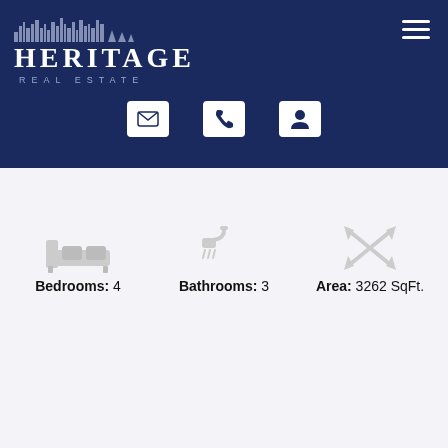[Figure (logo): Heritage Real Estate logo with city skyline silhouette and navigation hamburger menu on dark navy blue header background with mail, phone, and user icons]
Bedrooms: 4
Bathrooms: 3
Area: 3262 SqFt.